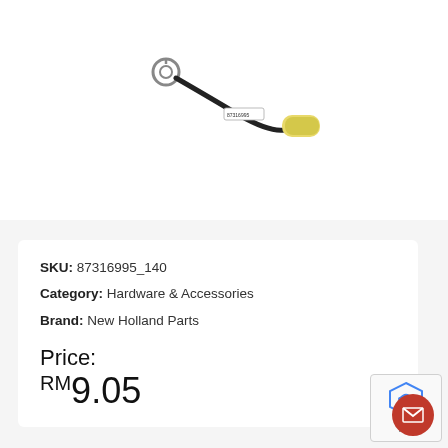[Figure (photo): Product photo of a small electrical cable/wire component with a ring terminal on one end and a yellow cylindrical connector on the other end, with a black wire and a white label tag.]
SKU: 87316995_140
Category: Hardware & Accessories
Brand: New Holland Parts
Price: RM9.05